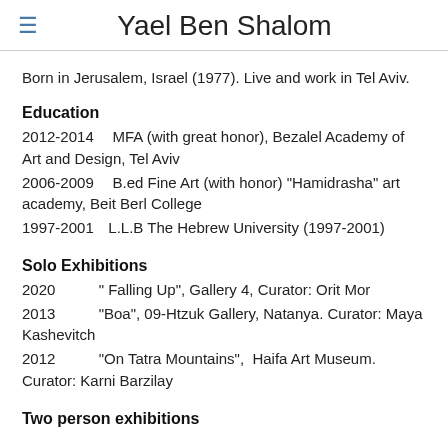Yael Ben Shalom
Born in Jerusalem, Israel (1977). Live and work in Tel Aviv.
Education
2012-2014    MFA (with great honor), Bezalel Academy of Art and Design, Tel Aviv
2006-2009    B.ed Fine Art (with honor) "Hamidrasha" art academy, Beit Berl College
1997-2001    L.L.B The Hebrew University (1997-2001)
Solo Exhibitions
2020    " Falling Up", Gallery 4, Curator: Orit Mor
2013    "Boa", 09-Htzuk Gallery, Natanya. Curator: Maya Kashevitch
2012    "On Tatra Mountains",  Haifa Art Museum. Curator: Karni Barzilay
Two person exhibitions